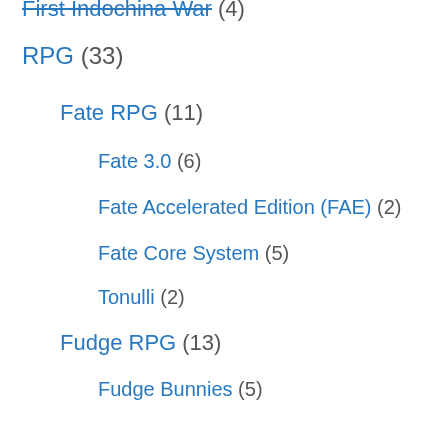First Indochina War (4)
RPG (33)
Fate RPG (11)
Fate 3.0 (6)
Fate Accelerated Edition (FAE) (2)
Fate Core System (5)
Tonulli (2)
Fudge RPG (13)
Fudge Bunnies (5)
Kids RPGs (5)
Place of Reeds (14)
Uncategorized (3)
Wargaming (942)
Ally (18)